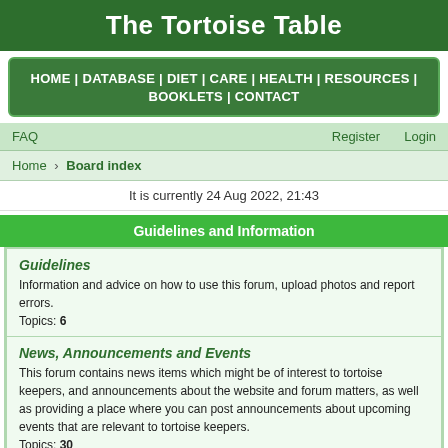The Tortoise Table
HOME | DATABASE | DIET | CARE | HEALTH | RESOURCES | BOOKLETS | CONTACT
FAQ    Register    Login
Home › Board index
It is currently 24 Aug 2022, 21:43
Guidelines and Information
Guidelines
Information and advice on how to use this forum, upload photos and report errors.
Topics: 6
News, Announcements and Events
This forum contains news items which might be of interest to tortoise keepers, and announcements about the website and forum matters, as well as providing a place where you can post announcements about upcoming events that are relevant to tortoise keepers.
Topics: 30
Plant Identification and Questions
UK Plant Identification
Use this forum for identification of plants and flowers found in the UK. To allow us to help provide accurate identification we need clear pictures of the whole plant, where it is growing and close up pictures of flowers, buds or seed heads